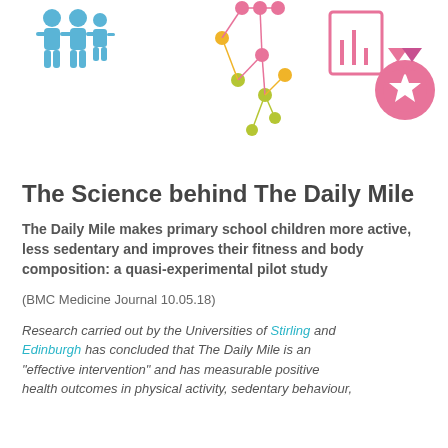[Figure (illustration): Decorative icons at top of page: blue human figure icons on left, connected network/graph nodes in pink, yellow and green in center, pink medal/award icon on right]
The Science behind The Daily Mile
The Daily Mile makes primary school children more active, less sedentary and improves their fitness and body composition: a quasi-experimental pilot study
(BMC Medicine Journal 10.05.18)
Research carried out by the Universities of Stirling and Edinburgh has concluded that The Daily Mile is an “effective intervention” and has measurable positive health outcomes in physical activity, sedentary behaviour,